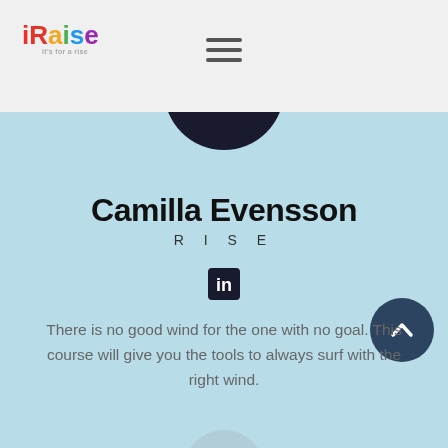Raise — it's for a rise (logo + navigation)
[Figure (photo): Circular profile photo of Camilla Evensson, partially visible at top of blue section, showing top of a dark-haired person's head]
Camilla Evensson
RISE
[Figure (logo): LinkedIn logo icon — white 'in' on dark square background]
There is no good wind for the one with no goal. This course will give you the tools to always surf with the right wind.